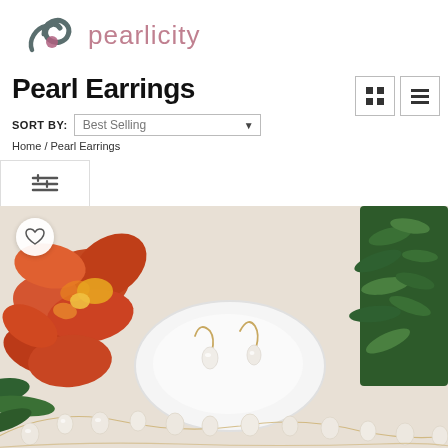[Figure (logo): Pearlicity logo with swirl icon in dark grey/teal and pink text]
Pearl Earrings
Sort by: Best Selling
Home / Pearl Earrings
[Figure (photo): Pearl earrings on a white dish, surrounded by orange flowers and green leaves, with a pearl necklace in the foreground]